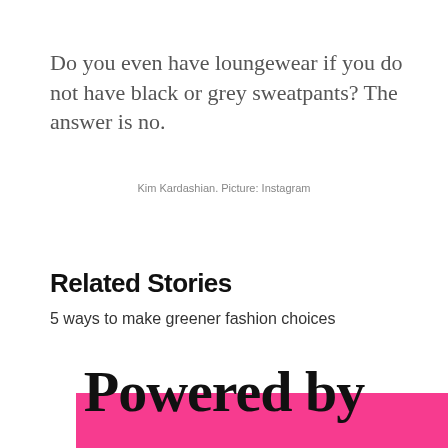Do you even have loungewear if you do not have black or grey sweatpants? The answer is no.
Kim Kardashian. Picture: Instagram
Related Stories
5 ways to make greener fashion choices
Powered by